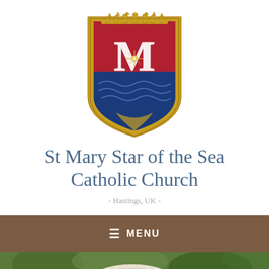[Figure (logo): Heraldic shield crest with red and blue background, crown at top, Marian monogram (M with star), and waves at bottom, all outlined in gold. Logo for St Mary Star of the Sea Catholic Church.]
St Mary Star of the Sea Catholic Church
- Hastings, UK -
≡ MENU
[Figure (photo): Partial photo showing the top of a person's head with white/grey hair against a green leafy background.]